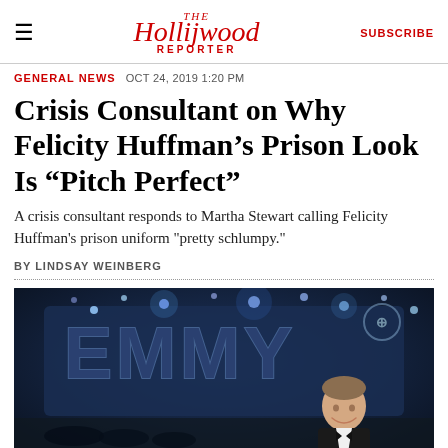The Hollywood Reporter | SUBSCRIBE
GENERAL NEWS  OCT 24, 2019 1:20 PM
Crisis Consultant on Why Felicity Huffman’s Prison Look Is “Pitch Perfect”
A crisis consultant responds to Martha Stewart calling Felicity Huffman's prison uniform "pretty schlumpy."
BY LINDSAY WEINBERG
[Figure (photo): Emmy Awards stage scene with large EMMY logo backdrop and a man in a tuxedo in the foreground]